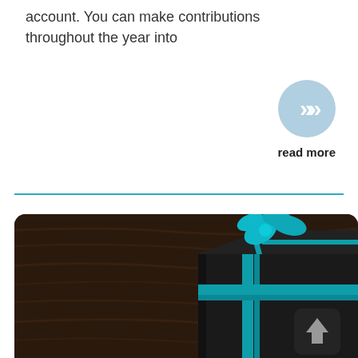account. You can make contributions throughout the year into
[Figure (illustration): A light blue circle button with double right-pointing chevrons (>>) and 'read more' label below]
[Figure (photo): A dark gift box wrapped in black paper with a teal/turquoise ribbon and bow, placed on a dark wooden surface. An upload/share icon appears in the lower right corner of the image.]